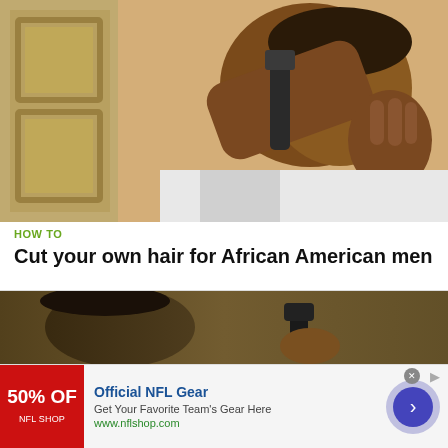[Figure (photo): A man cutting his own hair with electric clippers in front of a mirror, door visible in background]
HOW TO
Cut your own hair for African American men
[Figure (photo): Person getting hair cut or styled, dark background, hand holding hair tool visible]
Official NFL Gear
Get Your Favorite Team's Gear Here
www.nflshop.com